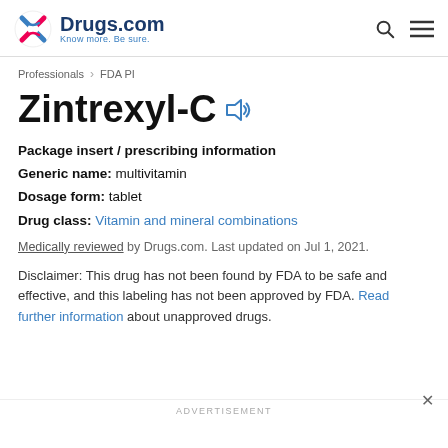Drugs.com — Know more. Be sure.
Professionals > FDA PI
Zintrexyl-C
Package insert / prescribing information
Generic name: multivitamin
Dosage form: tablet
Drug class: Vitamin and mineral combinations
Medically reviewed by Drugs.com. Last updated on Jul 1, 2021.
Disclaimer: This drug has not been found by FDA to be safe and effective, and this labeling has not been approved by FDA. Read further information about unapproved drugs.
ADVERTISEMENT